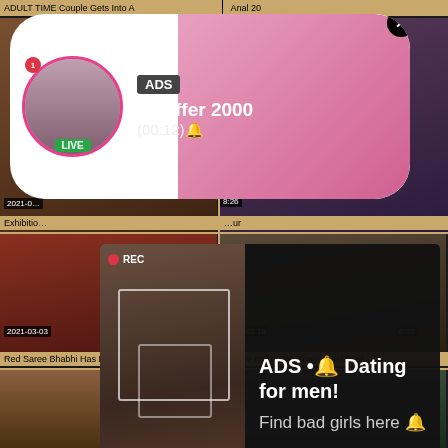ADULT TIME Couple Gets Into A
Anal 20
[Figure (screenshot): Ad popup with pink gradient background. Shows avatar photo of woman with LIVE badge, notification badge. Text: ADS, Jeniffer 2000, (00:12). Close X button.]
[Figure (screenshot): Dark semi-transparent popup overlay with woman taking mirror selfie with REC indicator and focus boxes. Text: ADS • Dating for men! Find bad girls here.]
2021-0
Exhibitio
8:26
ur
2021-03-03
21:51
Red Saree Bhabhi Has Hardcore sex
2021-02-18
6:03
Mature milf in car blowjob and anal